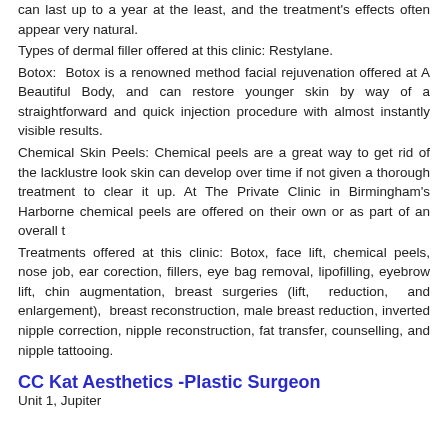can last up to a year at the least, and the treatment's effects often appear very natural. Types of dermal filler offered at this clinic: Restylane. Botox: Botox is a renowned method facial rejuvenation offered at A Beautiful Body, and can restore younger skin by way of a straightforward and quick injection procedure with almost instantly visible results. Chemical Skin Peels: Chemical peels are a great way to get rid of the lacklustre look skin can develop over time if not given a thorough treatment to clear it up. At The Private Clinic in Birmingham's Harborne chemical peels are offered on their own or as part of an overall t Treatments offered at this clinic: Botox, face lift, chemical peels, nose job, ear corection, fillers, eye bag removal, lipofilling, eyebrow lift, chin augmentation, breast surgeries (lift, reduction, and enlargement), breast reconstruction, male breast reduction, inverted nipple correction, nipple reconstruction, fat transfer, counselling, and nipple tattooing.
CC Kat Aesthetics -Plastic Surgeon
Unit 1, Jupiter